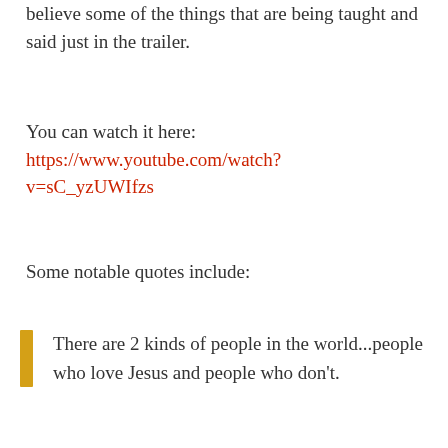believe some of the things that are being taught and said just in the trailer.
You can watch it here:
https://www.youtube.com/watch?v=sC_yzUWIfzs
Some notable quotes include:
There are 2 kinds of people in the world...people who love Jesus and people who don't.